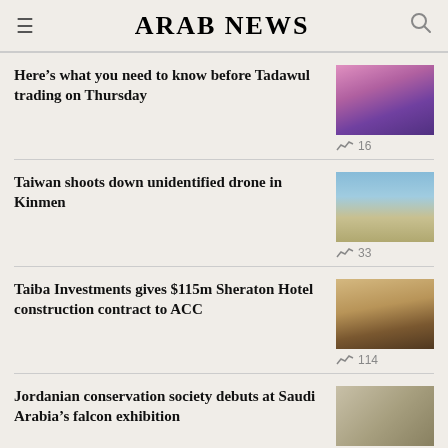ARAB NEWS
Here’s what you need to know before Tadawul trading on Thursday
Taiwan shoots down unidentified drone in Kinmen
Taiba Investments gives $115m Sheraton Hotel construction contract to ACC
Jordanian conservation society debuts at Saudi Arabia’s falcon exhibition